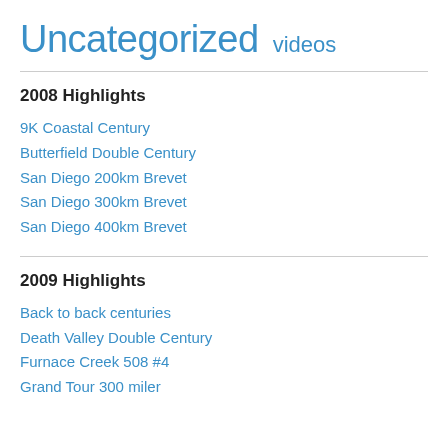Uncategorized videos
2008 Highlights
9K Coastal Century
Butterfield Double Century
San Diego 200km Brevet
San Diego 300km Brevet
San Diego 400km Brevet
2009 Highlights
Back to back centuries
Death Valley Double Century
Furnace Creek 508 #4
Grand Tour 300 miler